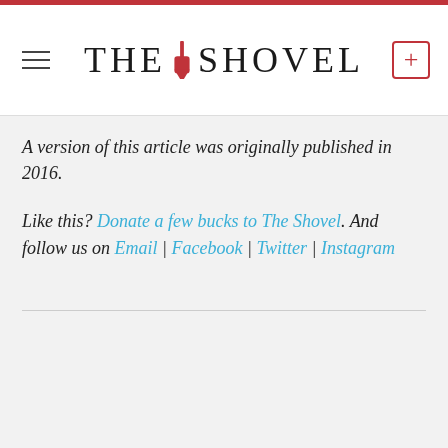THE SHOVEL
A version of this article was originally published in 2016.
Like this? Donate a few bucks to The Shovel. And follow us on Email | Facebook | Twitter | Instagram